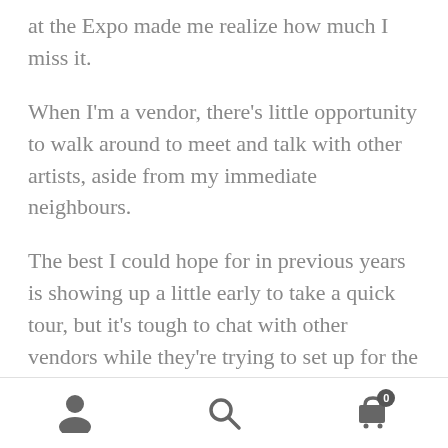at the Expo made me realize how much I miss it.
When I'm a vendor, there's little opportunity to walk around to meet and talk with other artists, aside from my immediate neighbours.
The best I could hope for in previous years is showing up a little early to take a quick tour, but it's tough to chat with other vendors while they're trying to set up for the day. Shonna has occasionally worked my booth with me on the busier days, and she's a big help, but people want to talk to the person who created the artwork, so I
Navigation bar with user icon, search icon, and cart icon (badge: 0)